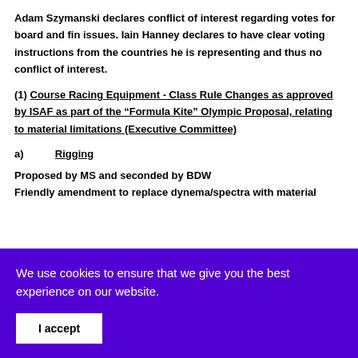Adam Szymanski declares conflict of interest regarding votes for board and fin issues. Iain Hanney declares to have clear voting instructions from the countries he is representing and thus no conflict of interest.
(1) Course Racing Equipment - Class Rule Changes as approved by ISAF as part of the “Formula Kite” Olympic Proposal, relating to material limitations (Executive Committee)
a)   Rigging
Proposed by MS and seconded by BDW
Friendly amendment to replace dynema/spectra with material
We use cookies to ensure that we give you the best experience on our website.